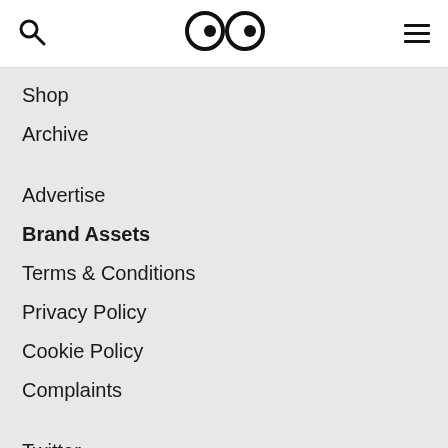Search | Logo (eyes icon) | Menu
Shop
Archive
Advertise
Brand Assets
Terms & Conditions
Privacy Policy
Cookie Policy
Complaints
Twitter
Facebook
Instagram
Linkedin